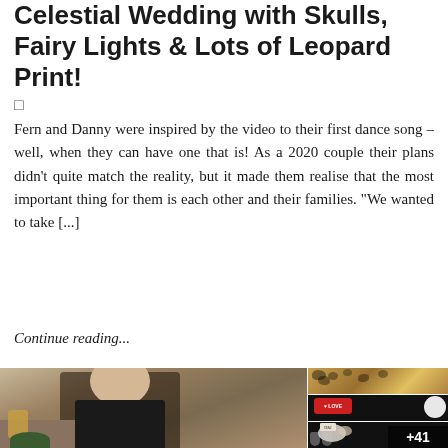Celestial Wedding with Skulls, Fairy Lights & Lots of Leopard Print!
□
Fern and Danny were inspired by the video to their first dance song – well, when they can have one that is! As a 2020 couple their plans didn't quite match the reality, but it made them realise that the most important thing for them is each other and their families. "We wanted to take [...]
Continue reading...
[Figure (photo): Large photo of a smiling young child with blonde hair wearing a black leather jacket, sitting at a table with food and drinks. Three smaller photos on the right side: top photo shows leopard print fabric/material, middle photo shows a vinyl record with a heart logo, bottom photo shows a dark place setting with 'D&I' tag and +41 overlay on last image.]